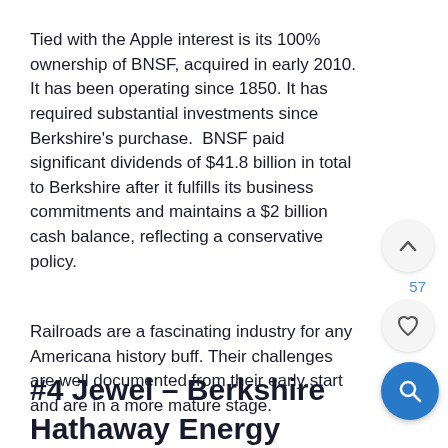Tied with the Apple interest is its 100% ownership of BNSF, acquired in early 2010. It has been operating since 1850. It has required substantial investments since Berkshire's purchase. BNSF paid significant dividends of $41.8 billion in total to Berkshire after it fulfills its business commitments and maintains a $2 billion cash balance, reflecting a conservative policy.
Railroads are a fascinating industry for any Americana history buff. Their challenges are well documented from their early start and are in a more mature stage.
#4 Jewel – Berkshire Hathaway Energy